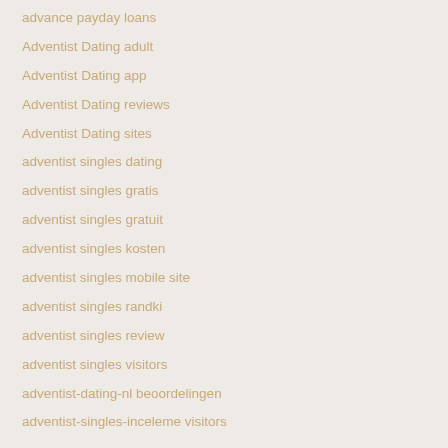advance payday loans
Adventist Dating adult
Adventist Dating app
Adventist Dating reviews
Adventist Dating sites
adventist singles dating
adventist singles gratis
adventist singles gratuit
adventist singles kosten
adventist singles mobile site
adventist singles randki
adventist singles review
adventist singles visitors
adventist-dating-nl beoordelingen
adventist-singles-inceleme visitors